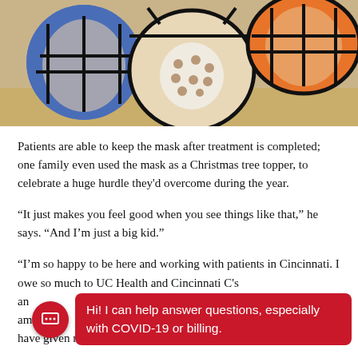[Figure (photo): Photo of colorfully decorated radiation therapy masks on a table — a blue mask on the left, a center mask with polka-dot pattern, and an orange mask on the right.]
Patients are able to keep the mask after treatment is completed; one family even used the mask as a Christmas tree topper, to celebrate a huge hurdle they'd overcome during the year.
“It just makes you feel good when you see things like that,” he says. “And I’m just a big kid.”
“I’m so happy to be here and working with patients in Cincinnati. I owe so much to UC Health and Cincinnati C…’s an amazing… workers have given me. I think everything happens for a
Hi! I can help answer questions, especially with COVID-19 or billing.